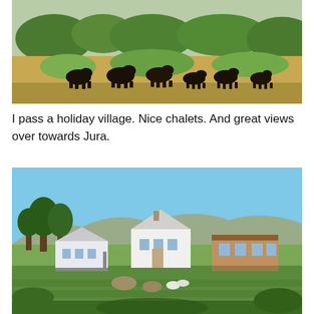[Figure (photo): Landscape photo showing black cattle grazing in a grassy field with green shrubs and vegetation in the background under a light sky.]
I pass a holiday village. Nice chalets. And great views over towards Jura.
[Figure (photo): Landscape photo showing a holiday village with white chalets and wooden cabins set among green fields and trees, with rocky hills in the background under a clear blue sky.]